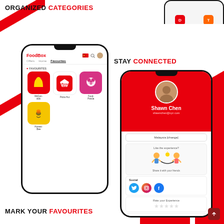ORGANIZED CATEGORIES
[Figure (screenshot): Partial phone screenshot showing DeliverEat and Tapao app icons at the top right corner]
STAY CONNECTED
[Figure (screenshot): Left phone mockup showing FoodBox app Favourites tab with McDonald's, Pizza Hut, FoodPanda, and HonestBee restaurant logos]
[Figure (screenshot): Right phone mockup showing FoodBox app profile page for Shawn Chen with email shawnchen@xyz.com, Malaysia location, social sharing section with Twitter/Instagram/Facebook icons, star rating, and Support button]
MARK YOUR FAVOURITES